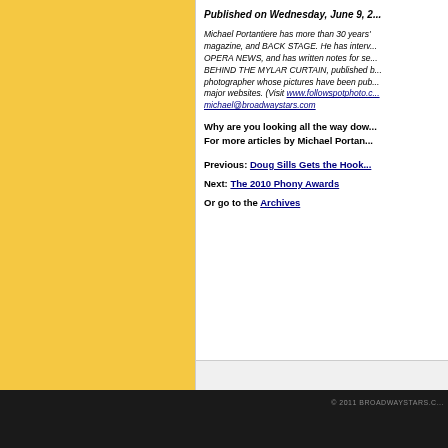Published on Wednesday, June 9, 2...
Michael Portantiere has more than 30 years' experience as a writer/editor for TheaterMania.com, Playbill magazine, and BACK STAGE. He has interviewed many of the leading figures of the Broadway theater for OPERA NEWS, and has written notes for several cast albums. He is the editor of THE COMPANION TO BEHIND THE MYLAR CURTAIN, published by Hal Leonard/Applause Books. Michael is also a professional photographer whose pictures have been published in numerous print publications and on many major websites. (Visit www.followspotphoto.c... michael@broadwaystars.com
Why are you looking all the way dow... For more articles by Michael Portan...
Previous: Doug Sills Gets the Hook...
Next: The 2010 Phony Awards
Or go to the Archives
© 2011 BROADWAYSTARS.C...